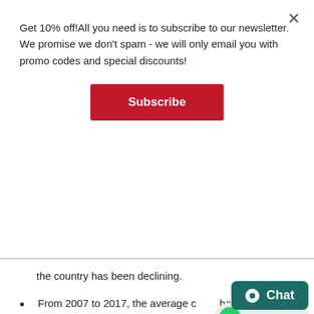Get 10% off!All you need is to subscribe to our newsletter. We promise we don't spam - we will only email you with promo codes and special discounts!
Subscribe
the country has been declining.
From 2007 to 2017, the average c… has been between 400-500.
However, from 2018 to 2019, the number of cases dropped to between 310-330 cases.
The total number of AIDS cases in Singapore is about 8618 until 2019.
Of this number, more than 6500 ar…
The main mode of transmission for AIDS in…